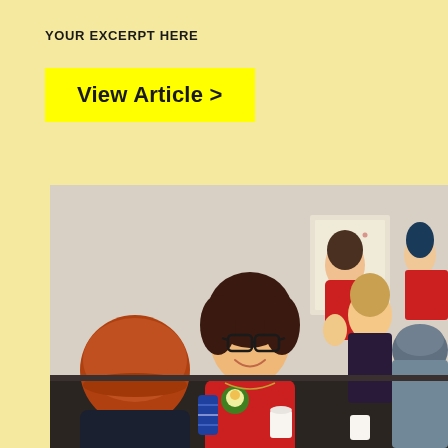YOUR EXCERPT HERE
View Article >
[Figure (photo): Group of people sitting around a table in conversation. A woman in a red shirt with glasses and dark curly hair is smiling. A person in an orange hat sits with their back to the camera in the foreground. Other people are visible in the background including a woman in a red top and a woman with blonde hair gesturing.]